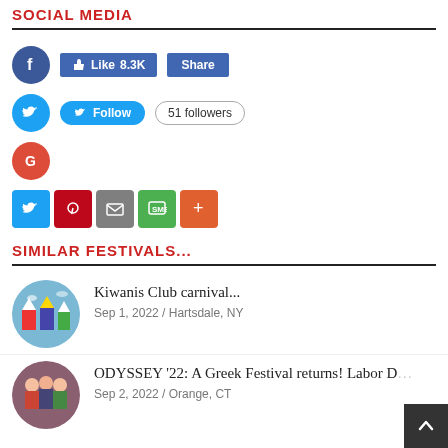SOCIAL MEDIA
[Figure (infographic): Social media widgets: Facebook Like (8.3K) and Share buttons, Twitter Follow button with 51 followers badge, Google+ icon, and a row of share icons (Twitter, Pinterest, Email, SMS, More)]
SIMILAR FESTIVALS...
Kiwanis Club carnival...
Sep 1, 2022  /  Hartsdale, NY
ODYSSEY '22: A Greek Festival returns! Labor D...
Sep 2, 2022  /  Orange, CT